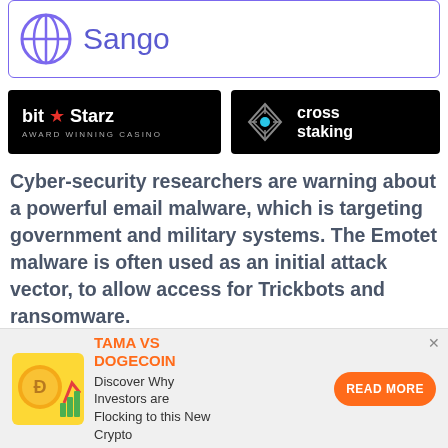[Figure (logo): Sango logo with purple circular globe icon and text 'Sango' in purple, inside a purple-bordered card]
[Figure (logo): BitStarz Award Winning Casino logo on black background]
[Figure (logo): Cross Staking logo with diamond geometric icon on black background]
Cyber-security researchers are warning about a powerful email malware, which is targeting government and military systems. The Emotet malware is often used as an initial attack vector, to allow access for Trickbots and ransomware.
[Figure (other): Partial article heading text at bottom, partially cut off]
[Figure (other): Bottom advertisement banner: TAMA VS DOGECOIN, Discover Why Investors are Flocking to this New Crypto, with READ MORE button]